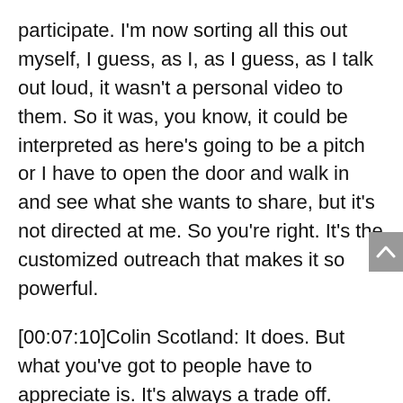participate. I'm now sorting all this out myself, I guess, as I, as I guess, as I talk out loud, it wasn't a personal video to them. So it was, you know, it could be interpreted as here's going to be a pitch or I have to open the door and walk in and see what she wants to share, but it's not directed at me. So you're right. It's the customized outreach that makes it so powerful.
[00:07:10]Colin Scotland: It does. But what you've got to people have to appreciate is. It's always a trade off. There's always a balance between the individual. So me sending you a video, Kris or me sending a video out to a list of 10,000 people, there's a